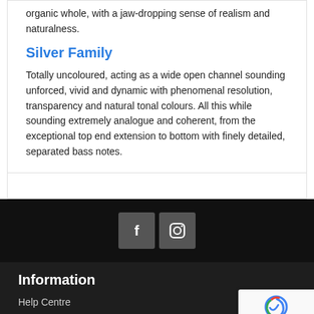organic whole, with a jaw-dropping sense of realism and naturalness.
Silver Family
Totally uncoloured, acting as a wide open channel sounding unforced, vivid and dynamic with phenomenal resolution, transparency and natural tonal colours. All this while sounding extremely analogue and coherent, from the exceptional top end extension to bottom with finely detailed, separated bass notes.
[Figure (other): Social media icons: Facebook and Instagram buttons on dark background]
Information
Help Centre
About Us